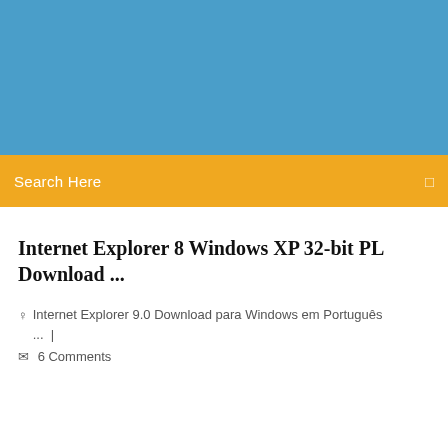[Figure (illustration): Blue banner/header image background at top of webpage]
Search Here
Internet Explorer 8 Windows XP 32-bit PL Download ...
Internet Explorer 9.0 Download para Windows em Português ... |
6 Comments